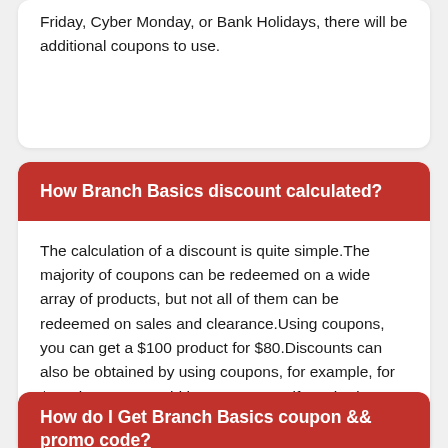Friday, Cyber Monday, or Bank Holidays, there will be additional coupons to use.
How Branch Basics discount calculated?
The calculation of a discount is quite simple.The majority of coupons can be redeemed on a wide array of products, but not all of them can be redeemed on sales and clearance.Using coupons, you can get a $100 product for $80.Discounts can also be obtained by using coupons, for example, for $100 item you would have to pay 64 if you had a 20% coupon and a 20% discount on the original price
How do I Get Branch Basics coupon && promo code?